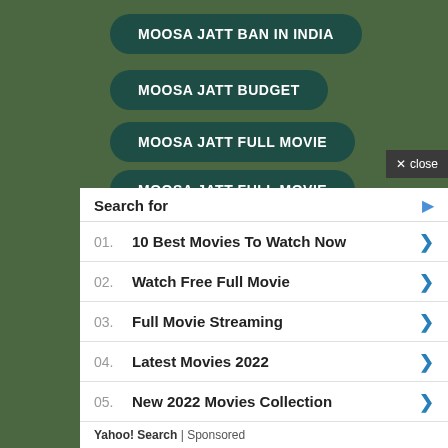MOOSA JATT BAN IN INDIA
MOOSA JATT BUDGET
MOOSA JATT FULL MOVIE
MOOSA JATT FULL MOVIE
Search for
01. 10 Best Movies To Watch Now
02. Watch Free Full Movie
03. Full Movie Streaming
04. Latest Movies 2022
05. New 2022 Movies Collection
Yahoo! Search | Sponsored